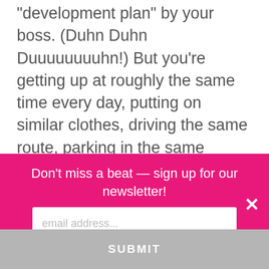“development plan” by your boss. (Duhn Duhn Duuuuuuuuhn!) But you’re getting up at roughly the same time every day, putting on similar clothes, driving the same route, parking in the same parking lot, going into the same building by the same entrance, usually in the same mood, seeing the same people, then sitting at the same desk that’s laid out the same for all situations to begin doing the same work…
Don't miss a beat — sign up for our newsletter!
email address...
SUBMIT